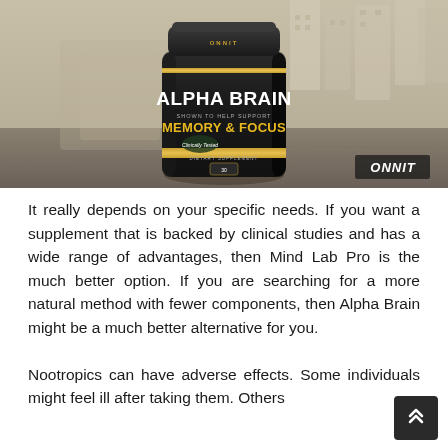[Figure (photo): Photo of Onnit Alpha Brain supplement bottle (black jar with gold label showing ALPHA BRAIN, MEMORY & FOCUS, Clinically Tested, Dietary Supplement) placed outdoors on a concrete surface with blurred urban background. Onnit logo in bottom-right corner.]
It really depends on your specific needs. If you want a supplement that is backed by clinical studies and has a wide range of advantages, then Mind Lab Pro is the much better option. If you are searching for a more natural method with fewer components, then Alpha Brain might be a much better alternative for you.
Nootropics can have adverse effects. Some individuals might feel ill after taking them. Others